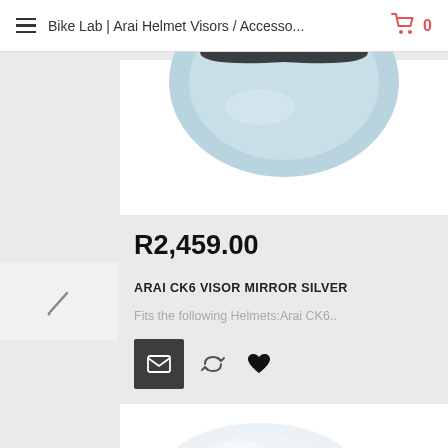Bike Lab | Arai Helmet Visors / Accesso...
[Figure (photo): Partial view of an Arai CK6 Visor Mirror Silver helmet visor, light blue/silver tinted, shown cropped at the top]
R2,459.00
ARAI CK6 VISOR MIRROR SILVER
Fits the following Helmets:Arai CK6..
[Figure (illustration): Action buttons: email (dark square button with envelope icon), compare (refresh/swap icon), wishlist (heart icon)]
[Figure (photo): Partial view of a second product (visor), white/clear, shown at the bottom of the page]